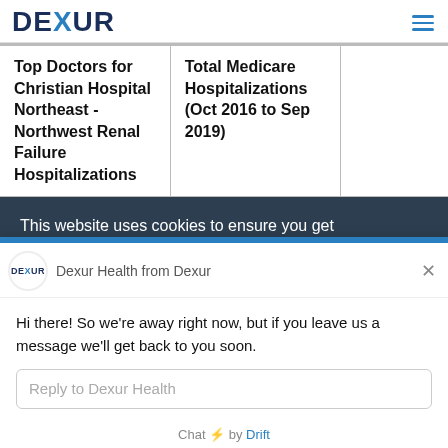DEXUR
| Top Doctors for Christian Hospital Northeast - Northwest Renal Failure Hospitalizations | Total Medicare Hospitalizations (Oct 2016 to Sep 2019) |  |
| --- | --- | --- |
This website uses cookies to ensure you get the best experience on our website. By using...
Dexur Health from Dexur
Hi there! So we're away right now, but if you leave us a message we'll get back to you soon.
Reply to Dexur Health
Chat ⚡ by Drift